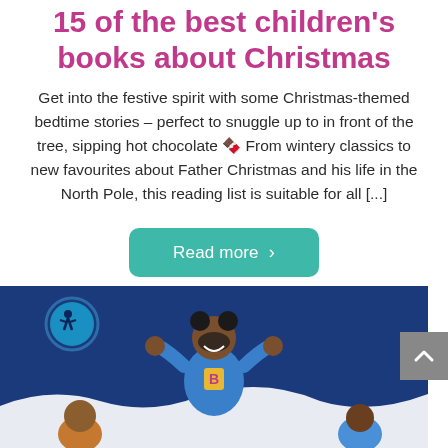15 of the best children's books about Christmas
Get into the festive spirit with some Christmas-themed bedtime stories – perfect to snuggle up to in front of the tree, sipping hot chocolate 🍫 From wintery classics to new favourites about Father Christmas and his life in the North Pole, this reading list is suitable for all [...]
[Figure (other): Teal/green rounded rectangular button with white text reading 'Read more' and a right-pointing chevron arrow]
[Figure (illustration): Book cover illustration showing a child in a superhero costume with a 'B' emblem on blue background, with a full moon and shadowy figure in background, and other children at the bottom]